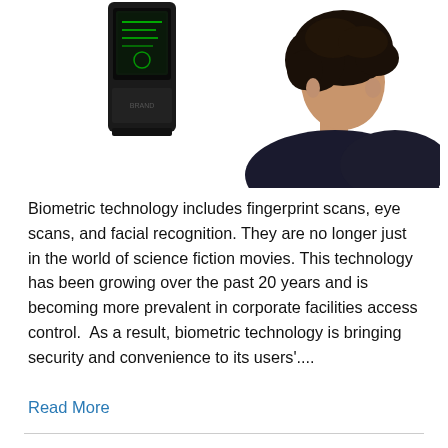[Figure (photo): Black biometric access control device with green display screen]
[Figure (photo): Woman with curly hair in dark jacket, side profile view against white background]
Biometric technology includes fingerprint scans, eye scans, and facial recognition. They are no longer just in the world of science fiction movies. This technology has been growing over the past 20 years and is becoming more prevalent in corporate facilities access control.  As a result, biometric technology is bringing security and convenience to its users'....
Read More